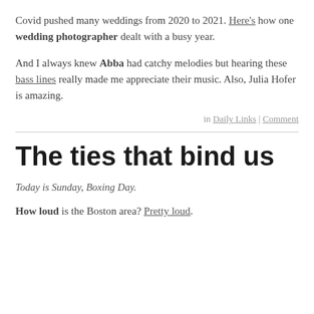Covid pushed many weddings from 2020 to 2021. Here's how one wedding photographer dealt with a busy year.
And I always knew Abba had catchy melodies but hearing these bass lines really made me appreciate their music. Also, Julia Hofer is amazing.
in Daily Links | Comment
The ties that bind us
Today is Sunday, Boxing Day.
How loud is the Boston area? Pretty loud.